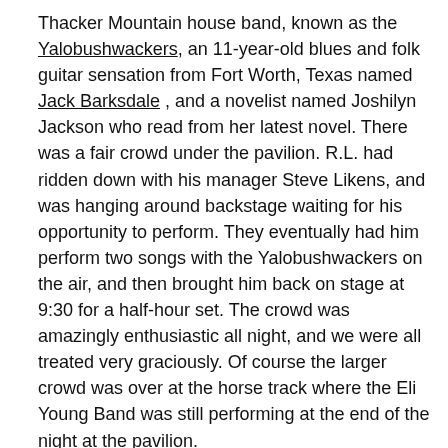Thacker Mountain house band, known as the Yalobushwackers, an 11-year-old blues and folk guitar sensation from Fort Worth, Texas named Jack Barksdale , and a novelist named Joshilyn Jackson who read from her latest novel. There was a fair crowd under the pavilion. R.L. had ridden down with his manager Steve Likens, and was hanging around backstage waiting for his opportunity to perform. They eventually had him perform two songs with the Yalobushwackers on the air, and then brought him back on stage at 9:30 for a half-hour set. The crowd was amazingly enthusiastic all night, and we were all treated very graciously. Of course the larger crowd was over at the horse track where the Eli Young Band was still performing at the end of the night at the pavilion.
R.L. and Steve had rooms in Philadelphia, but Sherena and Megan and I had to head back, and with the drive being three hours, we left at 10 PM. Although we were